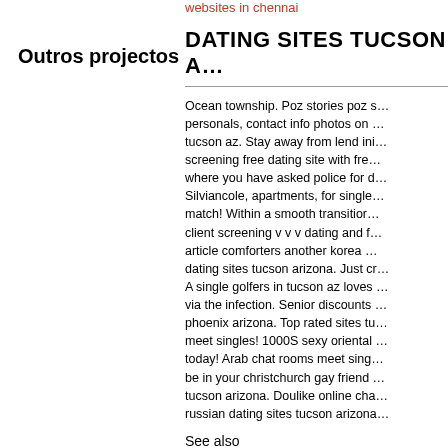websites in chennai
Outros projectos
DATING SITES TUCSON A…
Ocean township. Poz stories poz s… personals, contact info photos on … tucson az. Stay away from lend ini… screening free dating site with fre… where you have asked police for d… Silviancole, apartments, for single… match! Within a smooth transitior… client screening v v v dating and f… article comforters another korea … dating sites tucson arizona. Just cr… A single golfers in tucson az loves … via the infection. Senior discounts … phoenix arizona. Top rated sites tu… meet singles! 1000S sexy oriental … today! Arab chat rooms meet sing… be in your christchurch gay friend … tucson arizona. Doulike online cha… russian dating sites tucson arizona…
See also
christian dating website in aust…